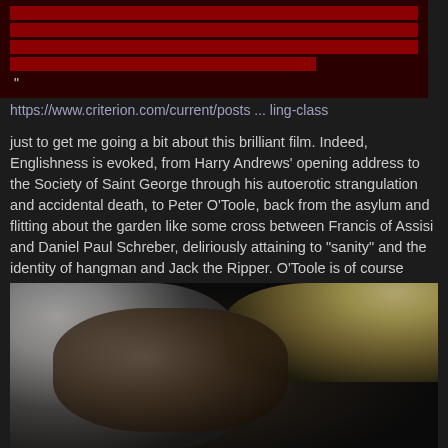[redacted/obscured text block with URL reference to criterion.com] "
https://www.criterion.com/current/posts ... ling-class
just to get me going a bit about this brilliant film. Indeed, Englishness is evoked, from Harry Andrews' opening address to the Society of Saint George through his autoerotic strangulation and accidental death, to Peter O’Toole, back from the asylum and flitting about the garden like some cross between Francis of Assisi and Daniel Paul Schreber, deliriously attaining to “sanity” and the identity of hangman and Jack the Ripper. O’Toole is of course amazing - never has an angel been so demonic, nor a demon so bright eyed and seductive. And the supporting cast… Coral Browne! James Villiers! Graham Crowden! ALASTAIR SIM! I find I’m shouting… Englishness as country estate, as garden, fox hunt, blood-soaked tradition, dome, terrordome. Brilliant!
[Figure (photo): Close-up photograph of an elderly person with white/silver hair on the left and a blonde-haired person partially visible on the right, against a dark background.]